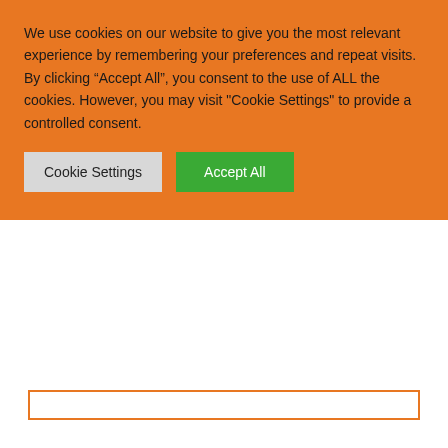We use cookies on our website to give you the most relevant experience by remembering your preferences and repeat visits. By clicking “Accept All”, you consent to the use of ALL the cookies. However, you may visit "Cookie Settings" to provide a controlled consent.
Cookie Settings | Accept All
what we thought was going to be unachievable. Thanks so much for your determination, tenacity, knowledge, expertise, and unswerving loyalty. You are all brilliant!"
Richard